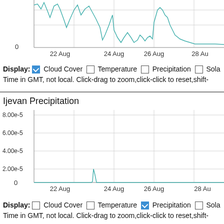[Figure (continuous-plot): Top line chart showing cloud cover data forIjevan from roughly 22 Aug to 28 Aug, with teal/cyan colored line fluctuating between 0 and high values. Y-axis shows 0 at bottom. X-axis labels: 22 Aug, 24 Aug, 26 Aug, 28 Au(g cropped)]
Display: [checked] Cloud Cover  [ ] Temperature  [ ] Precipitation  [ ] Sola(r cropped)
Time in GMT, not local. Click-drag to zoom,click-click to reset,shift-(cropped)
Ijevan Precipitation
[Figure (continuous-plot): Bottom line chart showing precipitation data forIjevan from 22 Aug to 28 Aug. Y-axis labels: 0, 2.00e-5, 4.00e-5, 6.00e-5, 8.00e-5. A single narrow spike reaching ~2.00e-5 occurs around 23 Aug, otherwise near zero. Teal/cyan line.]
Display: [ ] Cloud Cover  [ ] Temperature  [checked] Precipitation  [ ] Sola(r cropped)
Time in GMT, not local. Click-drag to zoom,click-click to reset,shift-(cropped)